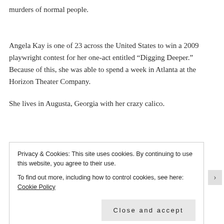murders of normal people.
Angela Kay is one of 23 across the United States to win a 2009 playwright contest for her one-act entitled “Digging Deeper.” Because of this, she was able to spend a week in Atlanta at the Horizon Theater Company.
She lives in Augusta, Georgia with her crazy calico.
Privacy & Cookies: This site uses cookies. By continuing to use this website, you agree to their use.
To find out more, including how to control cookies, see here: Cookie Policy
Close and accept